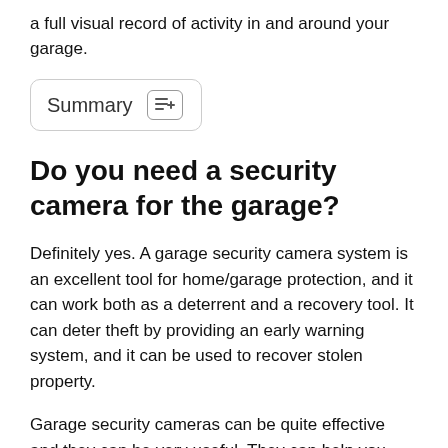a full visual record of activity in and around your garage.
Summary
Do you need a security camera for the garage?
Definitely yes. A garage security camera system is an excellent tool for home/garage protection, and it can work both as a deterrent and a recovery tool. It can deter theft by providing an early warning system, and it can be used to recover stolen property.
Garage security cameras can be quite effective and they can be very useful. They can help you